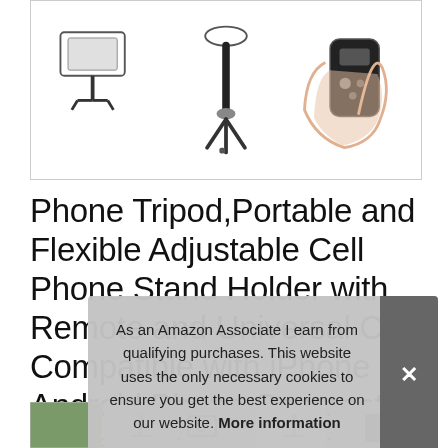[Figure (photo): Product image showing a phone tripod with flexible legs, a remote control, and a universal phone clip, displayed from multiple angles on a white background.]
Phone Tripod,Portable and Flexible Adjustable Cell Phone Stand Holder with Remote and Universal Clip Compatible with iPhone Android Phone Compact Digital Camera Sports Camera
#ad
As an Amazon Associate I earn from qualifying purchases. This website uses the only necessary cookies to ensure you get the best experience on our website. More information
[Figure (photo): Thumbnail strip showing multiple small images of the product in various settings.]